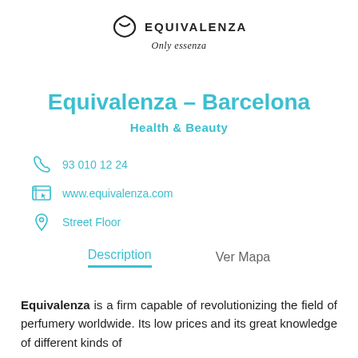[Figure (logo): Equivalenza logo with shield/leaf icon, text EQUIVALENZA and italic tagline 'Only essenza']
Equivalenza – Barcelona
Health & Beauty
93 010 12 24
www.equivalenza.com
Street Floor
Description
Ver Mapa
Equivalenza is a firm capable of revolutionizing the field of perfumery worldwide. Its low prices and its great knowledge of different kinds of